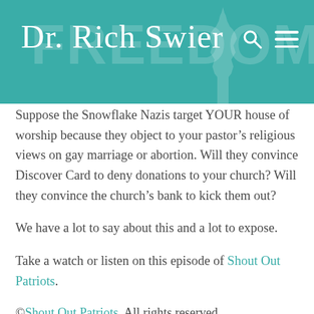Dr. Rich Swier
Suppose the Snowflake Nazis target YOUR house of worship because they object to your pastor’s religious views on gay marriage or abortion. Will they convince Discover Card to deny donations to your church? Will they convince the church’s bank to kick them out?
We have a lot to say about this and a lot to expose.
Take a watch or listen on this episode of Shout Out Patriots.
©Shout Out Patriots. All rights reserved.